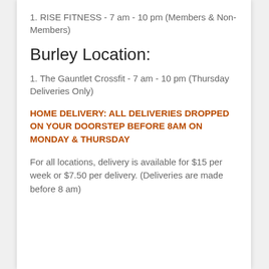1. RISE FITNESS - 7 am - 10 pm (Members & Non-Members)
Burley Location:
1. The Gauntlet Crossfit - 7 am - 10 pm (Thursday Deliveries Only)
HOME DELIVERY: ALL DELIVERIES DROPPED ON YOUR DOORSTEP BEFORE 8AM ON MONDAY & THURSDAY
For all locations, delivery is available for $15 per week or $7.50 per delivery. (Deliveries are made before 8 am)